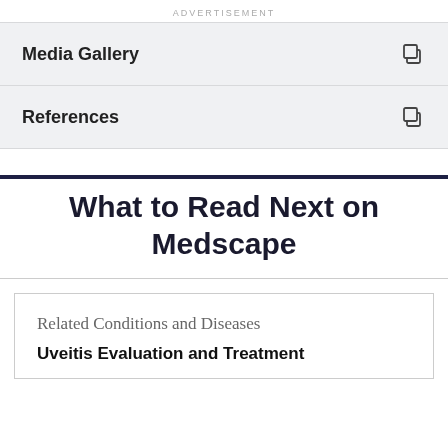ADVERTISEMENT
Media Gallery
References
What to Read Next on Medscape
Related Conditions and Diseases
Uveitis Evaluation and Treatment